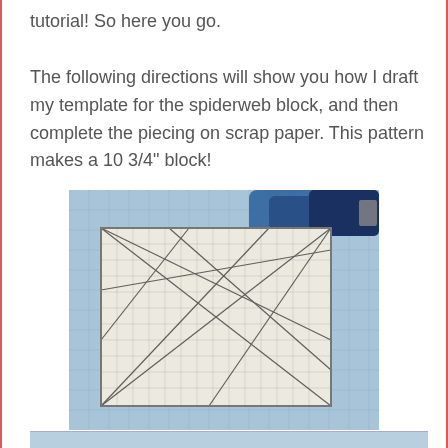tutorial! So here you go.

The following directions will show you how I draft my template for the spiderweb block, and then complete the piecing on scrap paper. This pattern makes a 10 3/4" block!
[Figure (photo): Photo of a quilting ruler/template placed on a blue cutting mat alongside a rotary cutter. The ruler shows a grid with diagonal lines drawn across it.]